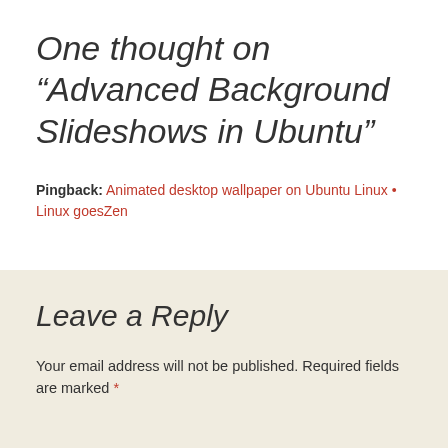One thought on “Advanced Background Slideshows in Ubuntu”
Pingback: Animated desktop wallpaper on Ubuntu Linux • Linux goesZen
Leave a Reply
Your email address will not be published. Required fields are marked *